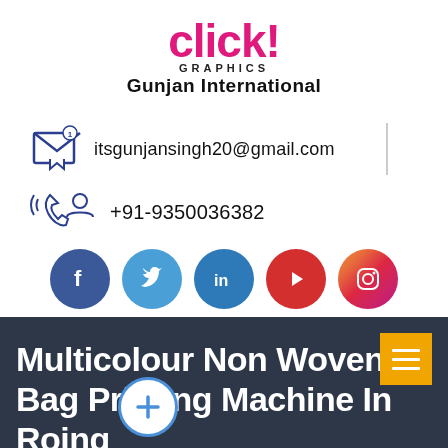[Figure (logo): Click! Graphics - Gunjan International logo with pink 'click!' text and black 'GRAPHICS' and 'Gunjan International' text]
itsgunjansingh20@gmail.com
+91-9350036382
[Figure (infographic): Social media icons: Facebook, Twitter, LinkedIn, YouTube, Instagram]
Multicolour Non Woven Bag Printing Machine In Roing
Home | Bag Printing Machine In Roing |